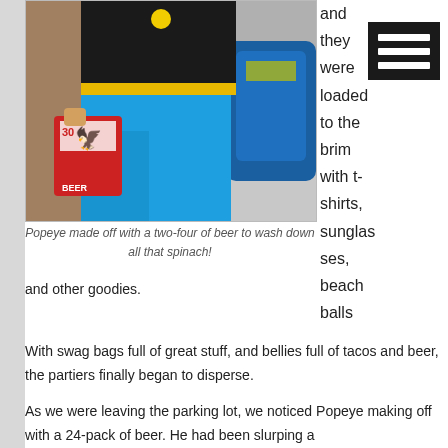[Figure (photo): Person dressed as Popeye wearing blue pants, black top with yellow belt, carrying a 30-pack case of beer, with a blue sports bag in background]
Popeye made off with a two-four of beer to wash down all that spinach!
and they were loaded to the brim with t-shirts, sunglasses, beach balls
and other goodies.
With swag bags full of great stuff, and bellies full of tacos and beer, the partiers finally began to disperse.
As we were leaving the parking lot, we noticed Popeye making off with a 24-pack of beer. He had been slurping a